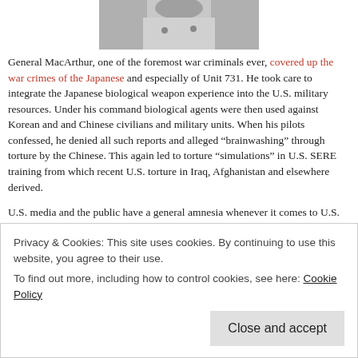[Figure (photo): Partial black-and-white photo of a person, cropped to show shirt/jacket area from shoulders down, centered at top of page.]
General MacArthur, one of the foremost war criminals ever, covered up the war crimes of the Japanese and especially of Unit 731. He took care to integrate the Japanese biological weapon experience into the U.S. military resources. Under his command biological agents were then used against Korean and and Chinese civilians and military units. When his pilots confessed, he denied all such reports and alleged “brainwashing” through  torture by the Chinese. This again led to torture “simulations” in U.S. SERE training from which recent U.S. torture in Iraq, Afghanistan and elsewhere derived.
U.S. media and the public have a general amnesia whenever it comes to U.S. war crimes – no matter how recent. The Senate
Privacy & Cookies: This site uses cookies. By continuing to use this website, you agree to their use.
To find out more, including how to control cookies, see here: Cookie Policy
Close and accept